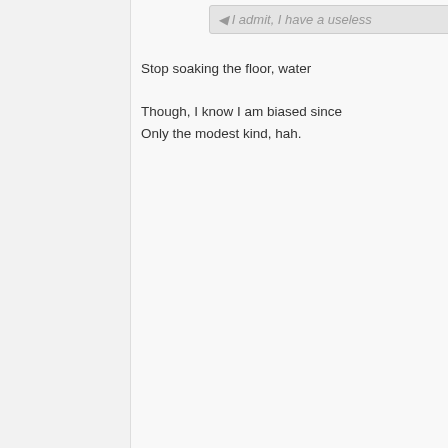I admit, I have a useless
Stop soaking the floor, water

Though, I know I am biased since
Only the modest kind, hah.
water
Forum Senior
Join Date: Apr 2005
Posts: 391
May 17th, 2005, 09:24 AM

Perfect.

Uh.
Say I'm not being reaso... explanation.